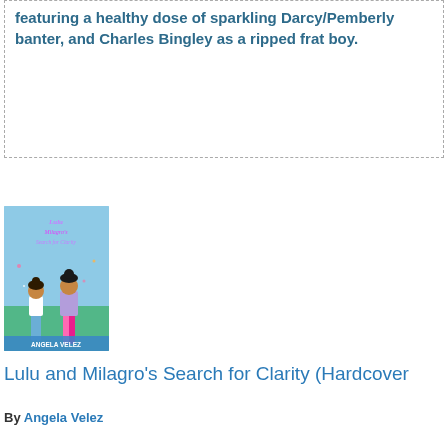featuring a healthy dose of sparkling Darcy/Pemberly banter, and Charles Bingley as a ripped frat boy.
[Figure (illustration): Book cover of 'Lulu and Milagro's Search for Clarity' by Angela Velez, showing two young women against a blue background with small decorative elements]
Lulu and Milagro's Search for Clarity (Hardcover)
By Angela Velez